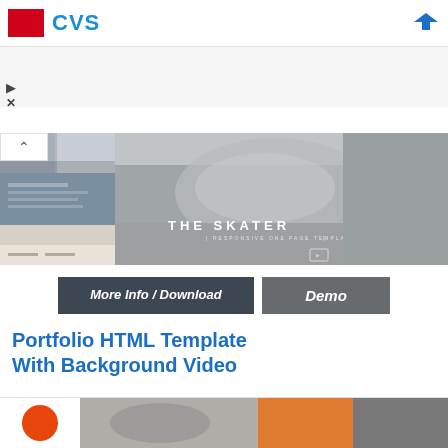CVS
[Figure (screenshot): Ad section with play and close controls on gray background]
[Figure (screenshot): The Skater - Responsive One Page Template promotional banner with collapse button, left thumbnail strips and right skate bowl photo]
[Figure (screenshot): Buttons: More Info / Download and Demo]
Portfolio HTML Template With Background Video
[Figure (screenshot): Bottom image strip with orange circle, gray photo, orange section, and dark gray section]